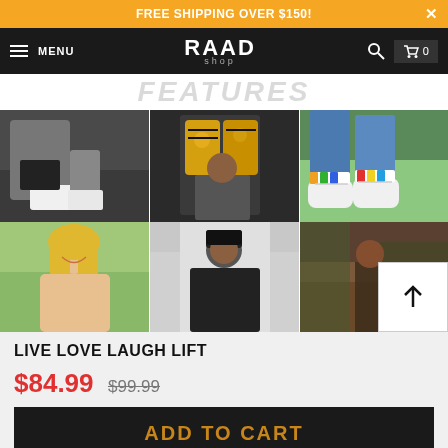FREE SHIPPING OVER $150!
RAAD shop — MENU — cart 0
FEATURED
[Figure (photo): Photo grid: 6 product/lifestyle photos showing shoes, boots, socks, and people wearing products. Row 1: tattooed man crouching in white sneakers; man holding yellow skull-print boots; close-up of colorful sunflower socks/shoes. Row 2: smiling blonde woman; man in black hoodie; partial nature/person image. Scroll-to-top arrow button overlay on bottom right.]
LIVE LOVE LAUGH LIFT
$84.99  $99.99
ADD TO CART